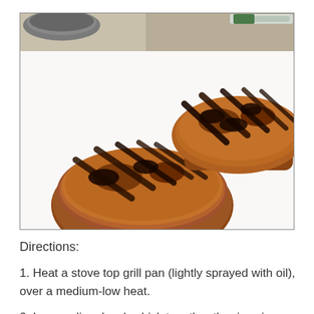[Figure (photo): Two grilled steaks with char marks on a white cutting board, photographed from above at a slight angle. A kitchen counter and pan are visible in the background.]
Directions:
1. Heat a stove top grill pan (lightly sprayed with oil), over a medium-low heat.
2. In a medium bowl, whisk together the rice vinegar, sesame oil and soy sauce. Add the radishes and